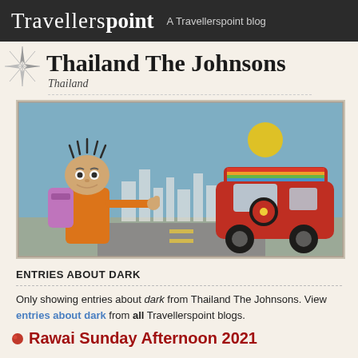Travellerspoint — A Travellerspoint blog
Thailand The Johnsons
Thailand
[Figure (illustration): Cartoon illustration of a traveller hitchhiking with a backpack, giving a thumbs up to a colourful psychedelic VW bus, against a blue city skyline background.]
ENTRIES ABOUT DARK
Only showing entries about dark from Thailand The Johnsons. View entries about dark from all Travellerspoint blogs.
Rawai Sunday Afternoon 2021